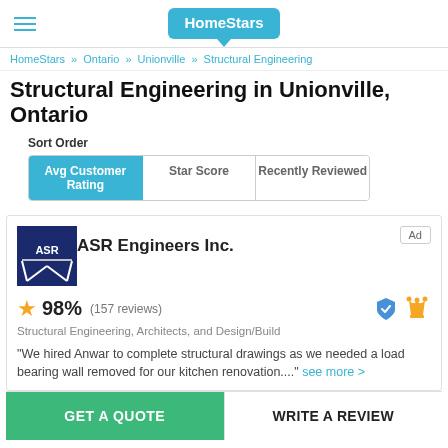HomeStars
HomeStars » Ontario » Unionville » Structural Engineering
Structural Engineering in Unionville, Ontario
Sort Order
Avg Customer Rating | Star Score | Recently Reviewed
[Figure (logo): ASR Engineers Inc. company logo - dark blue square with ASR text]
ASR Engineers Inc.
98% (157 reviews)
Structural Engineering, Architects, and Design/Build
"We hired Anwar to complete structural drawings as we needed a load bearing wall removed for our kitchen renovation...." see more >
GET A QUOTE | WRITE A REVIEW